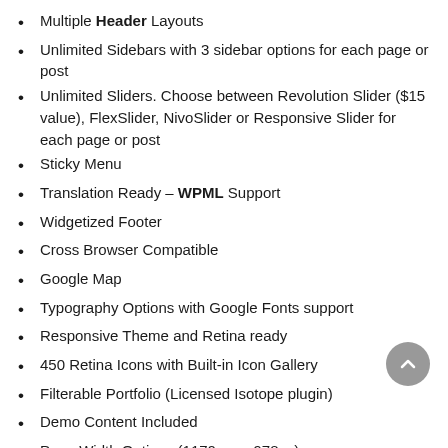Multiple Header Layouts
Unlimited Sidebars with 3 sidebar options for each page or post
Unlimited Sliders. Choose between Revolution Slider ($15 value), FlexSlider, NivoSlider or Responsive Slider for each page or post
Sticky Menu
Translation Ready – WPML Support
Widgetized Footer
Cross Browser Compatible
Google Map
Typography Options with Google Fonts support
Responsive Theme and Retina ready
450 Retina Icons with Built-in Icon Gallery
Filterable Portfolio (Licensed Isotope plugin)
Demo Content Included
Page Width Options (1170px or 978px)
Extensive Documentations